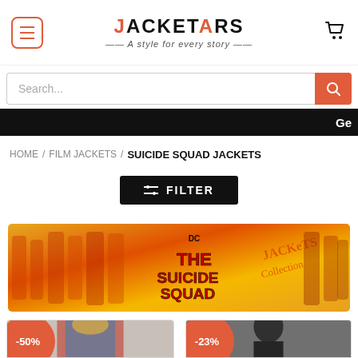JACKETARS — A style for every story
Search...
Ge
HOME / FILM JACKETS / SUICIDE SQUAD JACKETS
FILTER
[Figure (illustration): The Suicide Squad Jackets Collection promotional banner with orange/yellow background showing costumed characters and logo text.]
[Figure (photo): Product photo showing a red and blue jacket, -50% discount badge.]
[Figure (photo): Product photo showing a dark/black jacket on mannequin, -23% discount badge.]